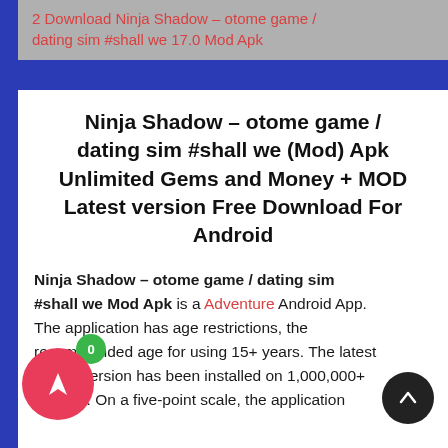2  Download Ninja Shadow – otome game / dating sim #shall we 17.0 Mod Apk
Ninja Shadow – otome game / dating sim #shall we (Mod) Apk Unlimited Gems and Money + MOD Latest version Free Download For Android
Ninja Shadow – otome game / dating sim #shall we Mod Apk is a Adventure Android App. The application has age restrictions, the recommended age for using 15+ years. The latest official version has been installed on 1,000,000+ devices. On a five-point scale, the application